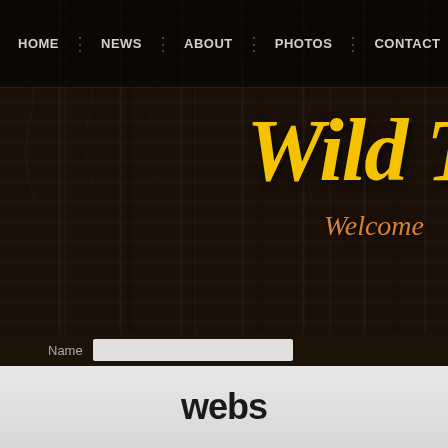[Figure (screenshot): Dark wood-textured website background with navigation bar, site title 'Wild T...' in yellow italic script, subtitle 'Welcome...' in orange italic, Guestbook section heading, Post a Comment area, Name field with input, and webs branding footer]
HOME | NEWS | ABOUT | PHOTOS | CONTACT | FORUMS
Wild T...
Welcome ...
Guestbook
Post a Comment
Name
webs